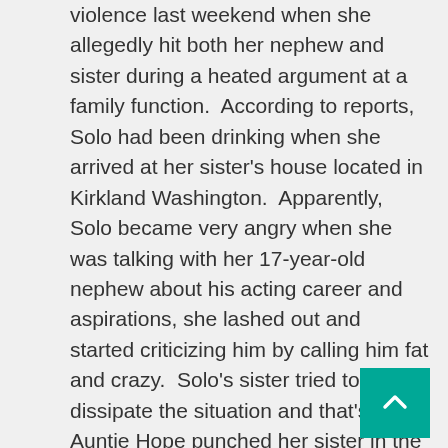violence last weekend when she allegedly hit both her nephew and sister during a heated argument at a family function.  According to reports, Solo had been drinking when she arrived at her sister's house located in Kirkland Washington.  Apparently, Solo became very angry when she was talking with her 17-year-old nephew about his acting career and aspirations, she lashed out and started criticizing him by calling him fat and crazy.  Solo's sister tried to dissipate the situation and that's when Auntie Hope punched her sister in the face.  Next the teenage boy came to his mother's aid and grabbed a broom and smashed it over Solo's head.  The altercation ended with the nephew pointing his BB gun at his Aunt Solo telling her to get out of their house.
"Hope is not guilty of a crime," stated her criminal defense attorney.  "In fact, our investigation revealed Hope was assaulted and injured during this